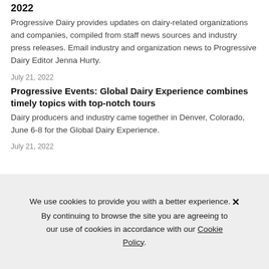2022
Progressive Dairy provides updates on dairy-related organizations and companies, compiled from staff news sources and industry press releases. Email industry and organization news to Progressive Dairy Editor Jenna Hurty.
July 21, 2022
Progressive Events: Global Dairy Experience combines timely topics with top-notch tours
Dairy producers and industry came together in Denver, Colorado, June 6-8 for the Global Dairy Experience.
July 21, 2022
We use cookies to provide you with a better experience. ✕ By continuing to browse the site you are agreeing to our use of cookies in accordance with our Cookie Policy.